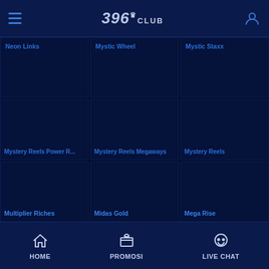396 CLUB — navigation header with hamburger menu and user icon
Neon Links
Mystic Wheel
Mystic Staxx
Mystery Reels Power R...
Mystery Reels Megaways
Mystery Reels
Multiplier Riches
Midas Gold
Mega Rise
HOME | PROMOSI | LIVE CHAT